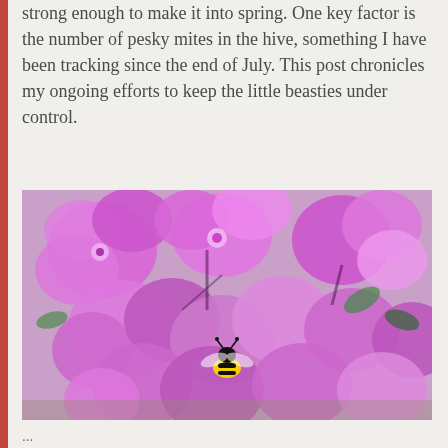strong enough to make it into spring. One key factor is the number of pesky mites in the hive, something I have been tracking since the end of July. This post chronicles my ongoing efforts to keep the little beasties under control.
[Figure (photo): Close-up photo of bright pink/purple phlox flowers with a bumblebee visible among the blooms.]
...